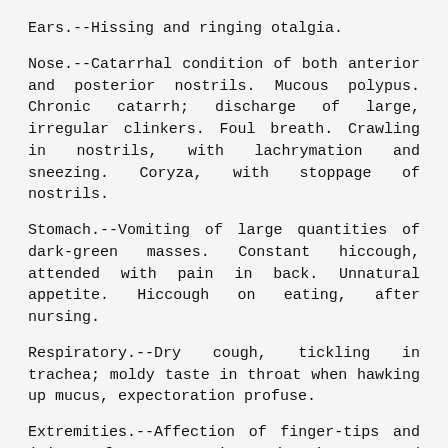Ears.--Hissing and ringing otalgia.
Nose.--Catarrhal condition of both anterior and posterior nostrils. Mucous polypus. Chronic catarrh; discharge of large, irregular clinkers. Foul breath. Crawling in nostrils, with lachrymation and sneezing. Coryza, with stoppage of nostrils.
Stomach.--Vomiting of large quantities of dark-green masses. Constant hiccough, attended with pain in back. Unnatural appetite. Hiccough on eating, after nursing.
Respiratory.--Dry cough, tickling in trachea; moldy taste in throat when hawking up mucus, expectoration profuse.
Extremities.--Affection of finger-tips and joints of toes. Tearing pains in arms and legs. Pain in toe-nails, as if they had grown into flesh.
Rectum.--Itching of anus, and constant irritation in the evening in bed. Ascarides, with nightly restlessness.